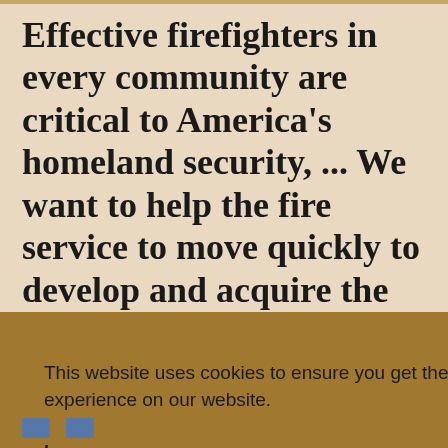Effective firefighters in every community are critical to America's homeland security, ... We want to help the fire service to move quickly to develop and acquire the necessary
This website uses cookies to ensure you get the best experience on our website. Learn more
l.
Got it!